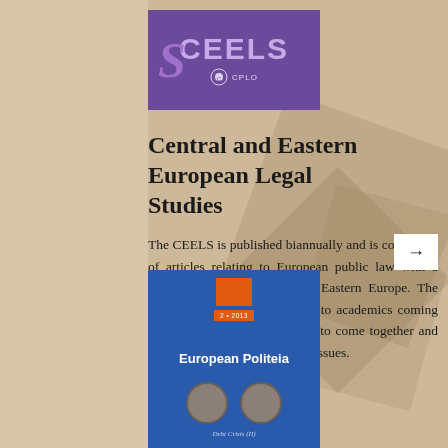[Figure (logo): CEELS journal logo on purple background with CPLO emblem]
Central and Eastern European Legal Studies
The CEELS is published biannually and is comprised of articles relating to European public law with a special focus on Central and Eastern Europe. The aim is to give the opportunity to academics coming from CEE and other countries to come together and exchange views on public law issues.
[Figure (photo): Book cover of European Politeia journal with two ancient coins, issue 2+2013, blue background]